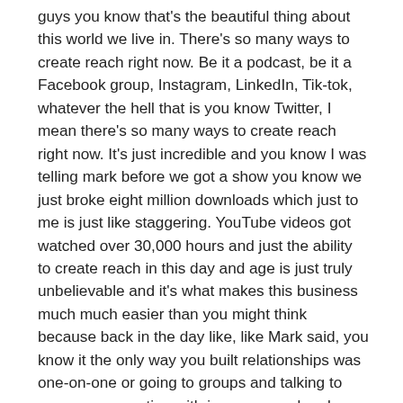guys you know that's the beautiful thing about this world we live in. There's so many ways to create reach right now. Be it a podcast, be it a Facebook group, Instagram, LinkedIn, Tik-tok, whatever the hell that is you know Twitter, I mean there's so many ways to create reach right now. It's just incredible and you know I was telling mark before we got a show you know we just broke eight million downloads which just to me is just like staggering. YouTube videos got watched over 30,000 hours and just the ability to create reach in this day and age is just truly unbelievable and it's what makes this business much much easier than you might think because back in the day like, like Mark said, you know it the only way you built relationships was one-on-one or going to groups and talking to groups are meeting with in groups and and you know it's all so much easier now. But anyway, so you know if you are coaching somebody you really cared about, what would you tell them about this business you know cuz I have a lot of listeners that haven't pulled the trigger yet you know they know they want to do this, they know they deserve more, they're afraid of failure, and I'm here to tell you those of you that that applies to fear being in the same place a year from now than you are right now that's what you should fear. But